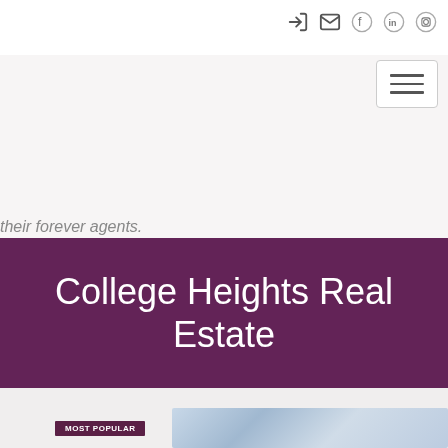Navigation bar with icons: login, email, facebook, linkedin, instagram, and hamburger menu
their forever agents.
College Heights Real Estate
[Figure (screenshot): Chat bubble button and MOST POPULAR badge with property listing image strip at bottom]
MOST POPULAR